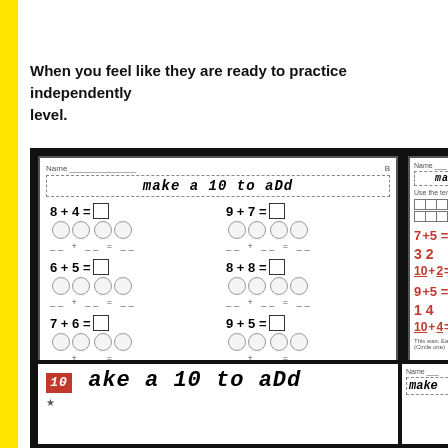When you feel like they are ready to practice independently level.
[Figure (photo): Math worksheets showing 'make a 10 to add' activity with addition problems (8+4, 9+7, 6+5, 8+8, 7+6, 9+5) and circle grouping diagrams, plus a partially visible completed worksheet with red marker answers showing 7+5=12, 10+2=12, 9+5=14, 10+4=14. Bottom portion shows additional worksheets partially visible.]